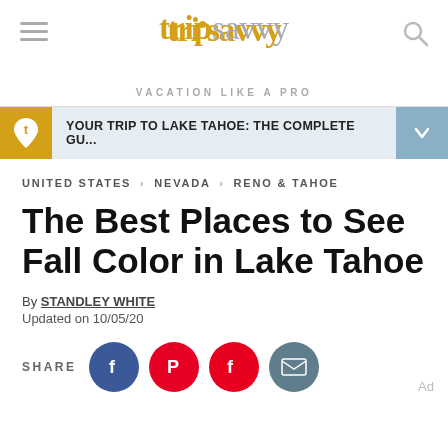tripsavvy VACATION LIKE A PRO
YOUR TRIP TO LAKE TAHOE: THE COMPLETE GU...
UNITED STATES > NEVADA > RENO & TAHOE
The Best Places to See Fall Color in Lake Tahoe
By STANDLEY WHITE
Updated on 10/05/20
SHARE